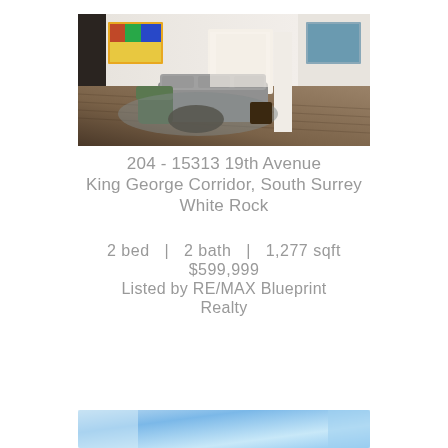[Figure (photo): Interior photo of a modern living room with hardwood floors, gray sectional sofa, colorful wall art, and open plan layout]
204 - 15313 19th Avenue
King George Corridor, South Surrey
White Rock
2 bed  |  2 bath  |  1,277 sqft
$599,999
Listed by RE/MAX Blueprint
Realty
[Figure (photo): Partial view of another property photo with blue sky/water]